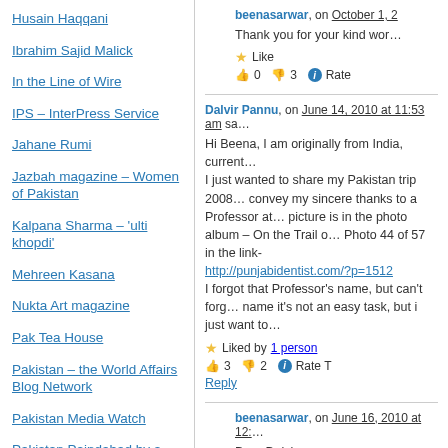Husain Haqqani
Ibrahim Sajid Malick
In the Line of Wire
IPS – InterPress Service
Jahane Rumi
Jazbah magazine – Women of Pakistan
Kalpana Sharma – 'ulti khopdi'
Mehreen Kasana
Nukta Art magazine
Pak Tea House
Pakistan – the World Affairs Blog Network
Pakistan Media Watch
Pakistan Paindabad by a Dilli wala
Pakistaniat
beenasarwar, on October 1, 2…
Thank you for your kind wor…
Liked: Like
👍 0 👎 3 ℹ Rate
Dalvir Pannu, on June 14, 2010 at 11:53 am sa…
Hi Beena, I am originally from India, current… I just wanted to share my Pakistan trip 2008… convey my sincere thanks to a Professor at… picture is in the photo album – On the Trail… Photo 44 of 57 in the link-
http://punjabidentist.com/?p=1512
I forgot that Professor's name, but can't forg… name it's not an easy task, but i just want to…
Liked by 1 person
👍 3 👎 2 ℹ Rate T
Reply
beenasarwar, on June 16, 2010 at 12:…
Dear Dalvir,
Thank for sharing the…